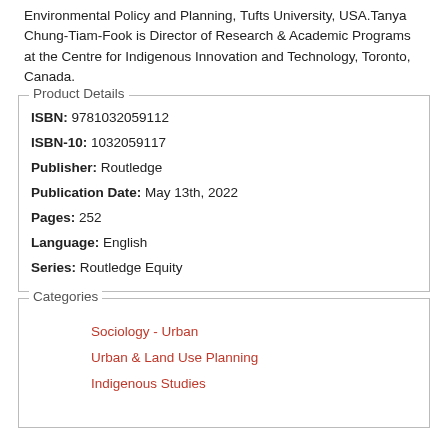Environmental Policy and Planning, Tufts University, USA.Tanya Chung-Tiam-Fook is Director of Research & Academic Programs at the Centre for Indigenous Innovation and Technology, Toronto, Canada.
Product Details
ISBN: 9781032059112
ISBN-10: 1032059117
Publisher: Routledge
Publication Date: May 13th, 2022
Pages: 252
Language: English
Series: Routledge Equity
Categories
Sociology - Urban
Urban & Land Use Planning
Indigenous Studies